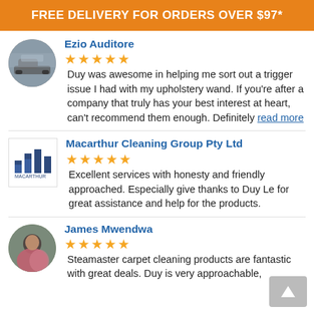FREE DELIVERY FOR ORDERS OVER $97*
Ezio Auditore
★★★★★ Duy was awesome in helping me sort out a trigger issue I had with my upholstery wand. If you're after a company that truly has your best interest at heart, can't recommend them enough. Definitely read more
Macarthur Cleaning Group Pty Ltd
★★★★★ Excellent services with honesty and friendly approached. Especially give thanks to Duy Le for great assistance and help for the products.
James Mwendwa
★★★★★ Steamaster carpet cleaning products are fantastic with great deals. Duy is very approachable,